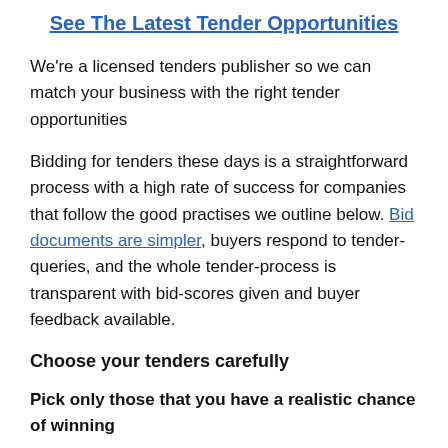See The Latest Tender Opportunities
We're a licensed tenders publisher so we can match your business with the right tender opportunities
Bidding for tenders these days is a straightforward process with a high rate of success for companies that follow the good practises we outline below. Bid documents are simpler, buyers respond to tender-queries, and the whole tender-process is transparent with bid-scores given and buyer feedback available.
Choose your tenders carefully
Pick only those that you have a realistic chance of winning